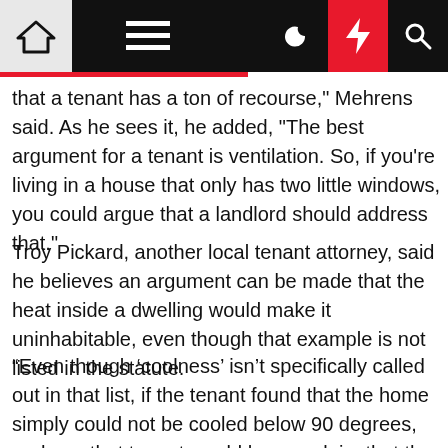Navigation bar with home, menu, dark mode, bolt/flash, and search icons
that a tenant has a ton of recourse," Mehrens said. As he sees it, he added, "The best argument for a tenant is ventilation. So, if you're living in a house that only has two little windows, you could argue that a landlord should address that."
Troy Pickard, another local tenant attorney, said he believes an argument can be made that the heat inside a dwelling would make it uninhabitable, even though that example is not listed in the statute.
“Even though ‘coolness’ isn’t specifically called out in that list, if the tenant found that the home simply could not be cooled below 90 degrees, perhaps that tenant would have a claim that the home was (not) inhabitable, even though temperature is not specifically addressed by the law,” he said.